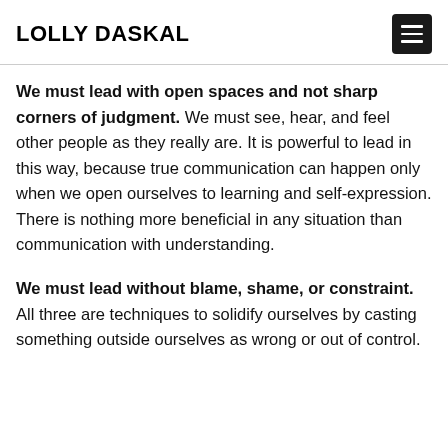LOLLY DASKAL
We must lead with open spaces and not sharp corners of judgment. We must see, hear, and feel other people as they really are. It is powerful to lead in this way, because true communication can happen only when we open ourselves to learning and self-expression. There is nothing more beneficial in any situation than communication with understanding.
We must lead without blame, shame, or constraint. All three are techniques to solidify ourselves by casting something outside ourselves as wrong or out of control.